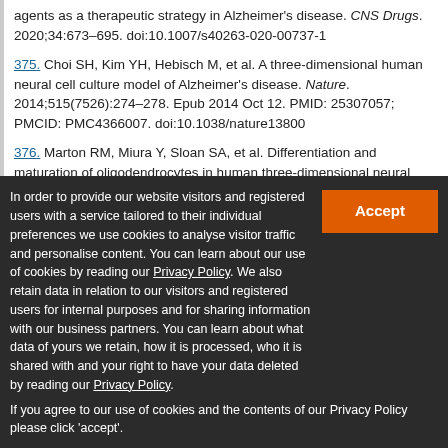agents as a therapeutic strategy in Alzheimer's disease. CNS Drugs. 2020;34:673–695. doi:10.1007/s40263-020-00737-1
375. Choi SH, Kim YH, Hebisch M, et al. A three-dimensional human neural cell culture model of Alzheimer's disease. Nature. 2014;515(7526):274–278. Epub 2014 Oct 12. PMID: 25307057; PMCID: PMC4366007. doi:10.1038/nature13800
376. Marton RM, Miura Y, Sloan SA, et al. Differentiation and maturation of oligodendrocytes in human three-dimensional neural cultures. Nat Neurosci. 2019;22(3):484–491. Epub 2019 Jan 28. PMID: 30692691; PMCID: PMC6788758. doi:10.1038/s41593-018-0316-9
In order to provide our website visitors and registered users with a service tailored to their individual preferences we use cookies to analyse visitor traffic and personalise content. You can learn about our use of cookies by reading our Privacy Policy. We also retain data in relation to our visitors and registered users for internal purposes and for sharing information with our business partners. You can learn about what data of yours we retain, how it is processed, who it is shared with and your right to have your data deleted by reading our Privacy Policy. If you agree to our use of cookies and the contents of our Privacy Policy please click 'accept'.